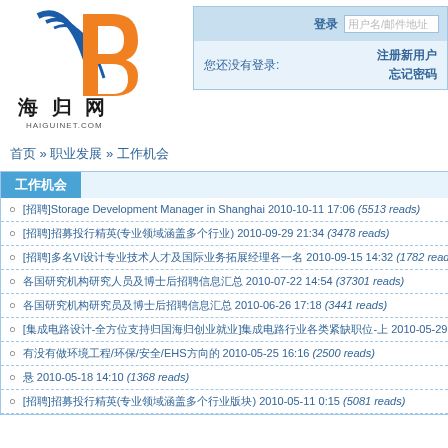[Figure (logo): Haiguinet.com logo with stylized blue and orange B and Chinese characters 海归网 HAIGUINET.COM]
登录 用户名/邮件地址 您还没有登录: 注册新用户 忘记密码
首页 » 职业发展 » 工作机会
工作机会
[招聘]Storage Development Manager in Shanghai 2010-10-11 17:06 (5513 reads)
[招聘]招募投行精英(专业领域涵盖多个行业) 2010-09-29 21:34 (3478 reads)
[招聘]多名VI设计专业技术人才及国际业务拓展经理各一名 2010-09-15 14:32 (1782 reads)
各国研究机构研究人员及博士后招聘信息汇总 2010-07-22 14:54 (37301 reads)
各国研究机构研究员及博士后招聘信息汇总 2010-06-26 17:18 (3441 reads)
[集成电路设计-全方位支持归国海归创业就业]集成电路行业各类紧缺职位-上 2010-05-29 22:47 (7149 reads)
有没有做环境工程/环保/安全/EHS方向的 2010-05-25 16:16 (2500 reads)
悬 2010-05-18 14:10 (1368 reads)
[招聘]招募投行精英(专业领域涵盖多个行业版块) 2010-05-11 0:15 (5081 reads)